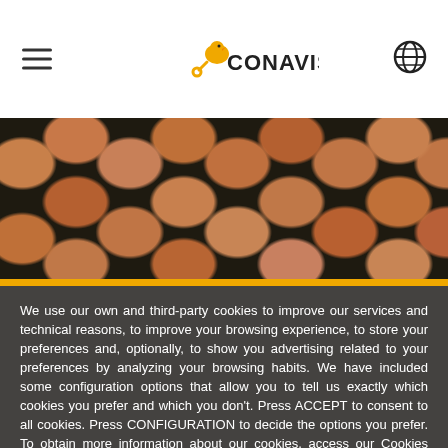CONAVISA
[Figure (photo): Rows of brown eggs in a dark egg carton tray, close-up view]
We use our own and third-party cookies to improve our services and technical reasons, to improve your browsing experience, to store your preferences and, optionally, to show you advertising related to your preferences by analyzing your browsing habits. We have included some configuration options that allow you to tell us exactly which cookies you prefer and which you don't. Press ACCEPT to consent to all cookies. Press CONFIGURATION to decide the options you prefer. To obtain more information about our cookies, access our Cookies Policy here: More information